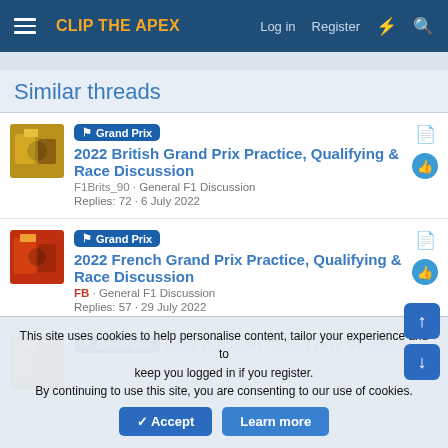CLIP THE APEX — Log in | Register
Similar threads
Grand Prix — 2022 British Grand Prix Practice, Qualifying & Race Discussion
F1Brits_90 · General F1 Discussion
Replies: 72 · 6 July 2022
Grand Prix — 2022 French Grand Prix Practice, Qualifying & Race Discussion
FB · General F1 Discussion
Replies: 57 · 29 July 2022
Grand Prix — 2022 Austrian Grand Prix Practice,
This site uses cookies to help personalise content, tailor your experience and to keep you logged in if you register.
By continuing to use this site, you are consenting to our use of cookies.